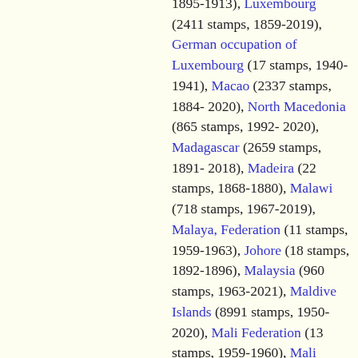1895-1913), Luxembourg (2411 stamps, 1859-2019), German occupation of Luxembourg (17 stamps, 1940-1941), Macao (2337 stamps, 1884-2020), North Macedonia (865 stamps, 1992-2020), Madagascar (2659 stamps, 1891-2018), Madeira (22 stamps, 1868-1880), Malawi (718 stamps, 1967-2019), Malaya, Federation (11 stamps, 1959-1963), Johore (18 stamps, 1892-1896), Malaysia (960 stamps, 1963-2021), Maldive Islands (8991 stamps, 1950-2020), Mali Federation (13 stamps, 1959-1960), Mali (2647 stamps, 1960-2019),